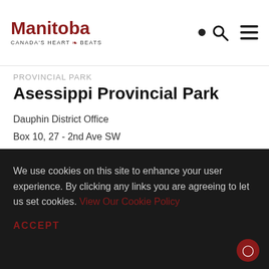Manitoba Canada's Heart Beats
PROVINCIAL PARK
Asessippi Provincial Park
Dauphin District Office
Box 10, 27 - 2nd Ave SW
Dauphin, MB R7N 3E5
DETAILS   Map | Save
We use cookies on this site to enhance your user experience. By clicking any links you are agreeing to let us set cookies. View Our Cookie Policy
ACCEPT